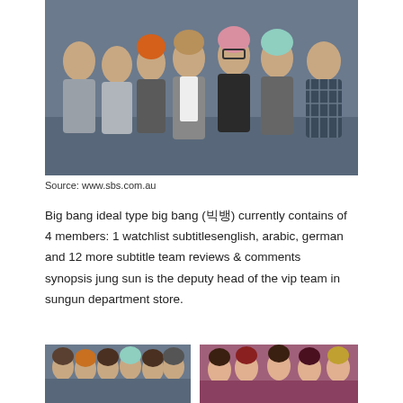[Figure (photo): Group photo of 7 young men (BTS) posing together, some making peace signs and thumbs up, wearing various outfits including suits and jackets, against a dark blue/grey background.]
Source: www.sbs.com.au
Big bang ideal type big bang (빅뱅) currently contains of 4 members: 1 watchlist subtitlesenglish, arabic, german and 12 more subtitle team reviews & comments synopsis jung sun is the deputy head of the vip team in sungun department store.
[Figure (photo): Group photo of several young men posing together.]
[Figure (photo): Group photo of young women posing together.]